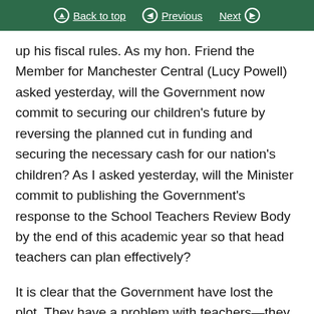Back to top | Previous | Next
up his fiscal rules. As my hon. Friend the Member for Manchester Central (Lucy Powell) asked yesterday, will the Government now commit to securing our children's future by reversing the planned cut in funding and securing the necessary cash for our nation's children? As I asked yesterday, will the Minister commit to publishing the Government's response to the School Teachers Review Body by the end of this academic year so that head teachers can plan effectively?
It is clear that the Government have lost the plot. They have a problem with teachers—they cannot recruit or retain enough, and they have lost teachers' confidence in large numbers. It is clear today that our children, who are our future, are